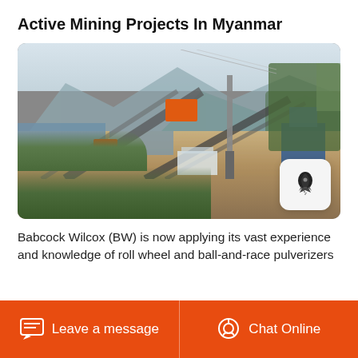Active Mining Projects In Myanmar
[Figure (photo): Outdoor mining facility with conveyor belts, industrial equipment, orange machinery, structures, and mountainous background]
Babcock Wilcox (BW) is now applying its vast experience and knowledge of roll wheel and ball-and-race pulverizers
Leave a message  Chat Online